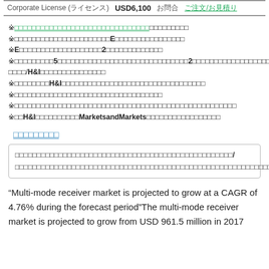| Corporate License (ライセンス) | USD6,100 | お問合 | ご注文/お見積り |
| --- | --- | --- | --- |
※□□□□□□□□□□□□□□□□/□□□□□□□□□□□□□□□□□□□□□□
※□□□□□□□□□□□□□□□□□□□□□□E□□□□□□□□□□□□□□□□
※E□□□□□□□□□□□□□□□□□□□2□□□□□□□□□□□□□
※□□□□□□□□□5□□□□□□□□□□□□□□□□□□□□□□□□□□□□□□□2□□□□□□□□□□□□□□□□□□□□□□□□□□□UFJ□□/□□□□/H&I□□□□□□□□□□□□□□□
※□□□□□□□□H&I□□□□□□□□□□□□□□□□□□□□□□□□□□□□□□□□□
※□□□□□□□□□□□□□□□□□□□□□□□□□□□□□□□□□□
※□□□□□□□□□□□□□□□□□□□□□□□□□□□□□□□□□□□□□□□□□□□□□□□□□□□
※□□H&I□□□□□□□□□□MarketsandMarkets□□□□□□□□□□□□□□□□□
□□□□□□□□□
□□□□□□□□□□□□□□□□□□□□□□□□□□□□□□□□□□□□□□□□□□□□□□□□□□/□□□□□□□□□□□□□□□□□□□□□□□□□□□□□□□□□□□□□□□□□□□□□□□□□□□□□□□□□□□□□□□□□□□□□□□□
“Multi-mode receiver market is projected to grow at a CAGR of 4.76% during the forecast period”The multi-mode receiver market is projected to grow from USD 961.5 million in 2017